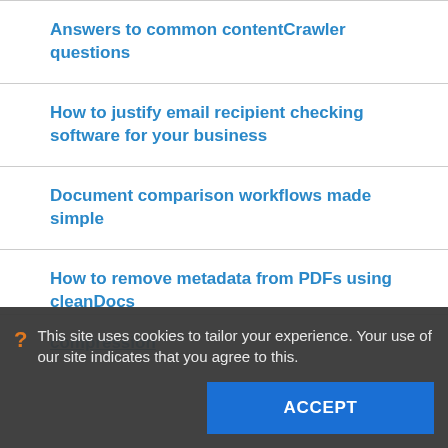Answers to common contentCrawler questions
How to justify email recipient checking software for your business
Document comparison workflows made simple
How to remove metadata from PDFs using cleanDocs
This site uses cookies to tailor your experience. Your use of our site indicates that you agree to this.
compression
Answers to common cleanDocs questions